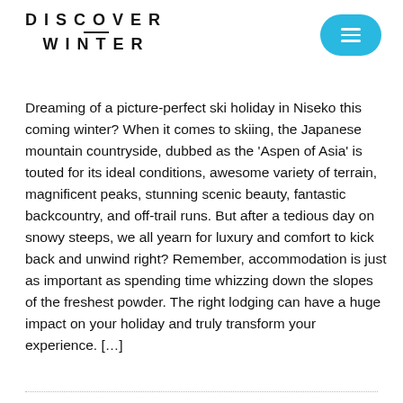DISCOVER WINTER
Dreaming of a picture-perfect ski holiday in Niseko this coming winter? When it comes to skiing, the Japanese mountain countryside, dubbed as the ‘Aspen of Asia’ is touted for its ideal conditions, awesome variety of terrain, magnificent peaks, stunning scenic beauty, fantastic backcountry, and off-trail runs. But after a tedious day on snowy steeps, we all yearn for luxury and comfort to kick back and unwind right? Remember, accommodation is just as important as spending time whizzing down the slopes of the freshest powder. The right lodging can have a huge impact on your holiday and truly transform your experience. […]